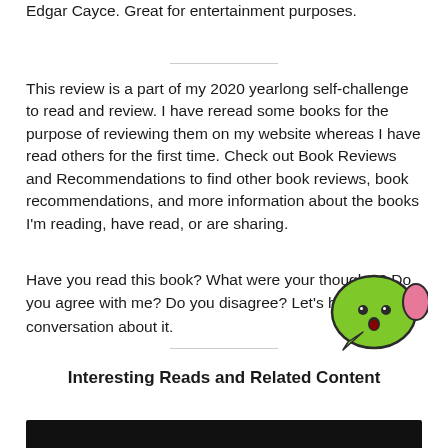Edgar Cayce. Great for entertainment purposes.
This review is a part of my 2020 yearlong self-challenge to read and review. I have reread some books for the purpose of reviewing them on my website whereas I have read others for the first time. Check out Book Reviews and Recommendations to find other book reviews, book recommendations, and more information about the books I'm reading, have read, or are sharing.
Have you read this book? What were your thoughts? Do you agree with me? Do you disagree? Let's have a conversation about it.
[Figure (illustration): Green cartoon speech bubble emoji with a surprised face expression, with a pink ear/tail on the right side]
Interesting Reads and Related Content
[Figure (photo): Dark/black image bar at bottom of page, appears to be a partial image]